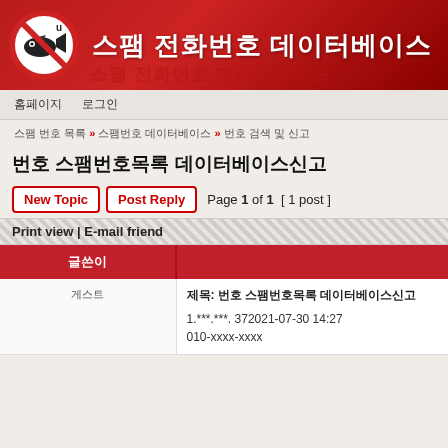[Figure (logo): Spam phone number database website header with anti-spam logo (fish with prohibited sign) and Korean title text '스팸 전화번호 데이터베이스']
스팸 전화번호 데이터베이스
홈페이지  로그인
스팸 번호 목록 » 스팸번호 데이터베이스 » 번호 검색 및 신고
번호 스팸번호목록 데이터베이스신고
New Topic  Post Reply  Page 1 of 1  [ 1 post ]
Print view | E-mail friend
| 글쓴이 |  |
| --- | --- |
| 게스트 | 제목: 번호 스팸번호목록 데이터베이스신고
1.***.***. 372021-07-30 14:27
010-xxxx-xxxx |
1.***.***. 372021-07-30 14:27
010-xxxx-xxxx